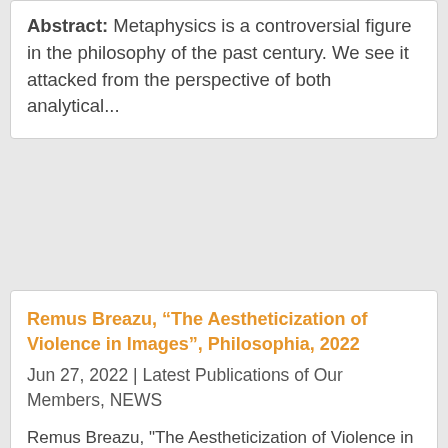Abstract: Metaphysics is a controversial figure in the philosophy of the past century. We see it attacked from the perspective of both analytical...
Remus Breazu, “The Aestheticization of Violence in Images”, Philosophia, 2022
Jun 27, 2022 | Latest Publications of Our Members, NEWS
Remus Breazu, "The Aestheticization of Violence in Images", Philosophia, 2022 Abstract The paper aims to give a phenomenological account of the way in which the experience of violence is modified in the aesthetic images. The phenomenological framework in which I place...